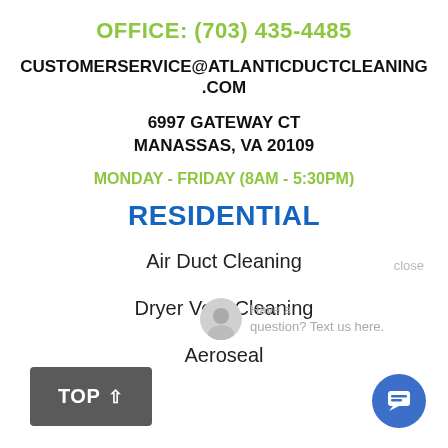OFFICE: (703) 435-4485
CUSTOMERSERVICE@ATLANTICDUCTCLEANING.COM
6997 GATEWAY CT
MANASSAS, VA 20109
MONDAY – FRIDAY (8AM – 5:30PM)
RESIDENTIAL
Air Duct Cleaning
Dryer Vent Cleaning
Aeroseal